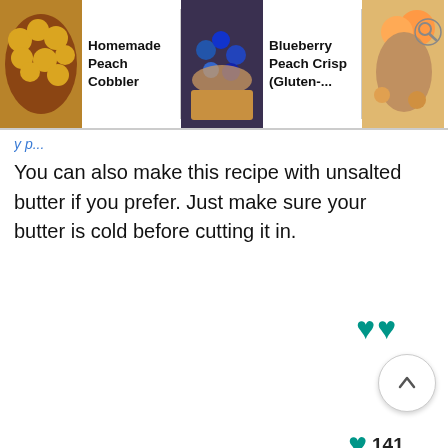[Figure (screenshot): Navigation bar with three recipe thumbnails: Homemade Peach Cobbler, Blueberry Peach Crisp (Gluten-...), and Fresh Apple Cobbler]
You can also make this recipe with unsalted butter if you prefer. Just make sure your butter is cold before cutting it in.
nutrition information
Yield 8
Serving Size 1
Amount Per Serving
Calories 190